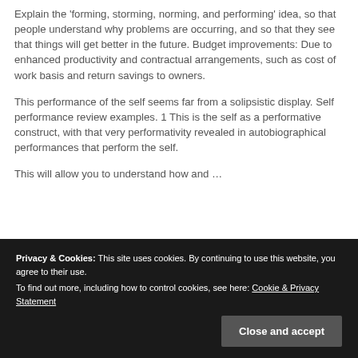Explain the 'forming, storming, norming, and performing' idea, so that people understand why problems are occurring, and so that they see that things will get better in the future. Budget improvements: Due to enhanced productivity and contractual arrangements, such as cost of work basis and return savings to owners.
This performance of the self seems far from a solipsistic display. Self performance review examples. 1 This is the self as a performative construct, with that very performativity revealed in autobiographical performances that perform the self.
This will allow you to understand...
Privacy & Cookies: This site uses cookies. By continuing to use this website, you agree to their use.
To find out more, including how to control cookies, see here: Cookie & Privacy Statement
Close and accept